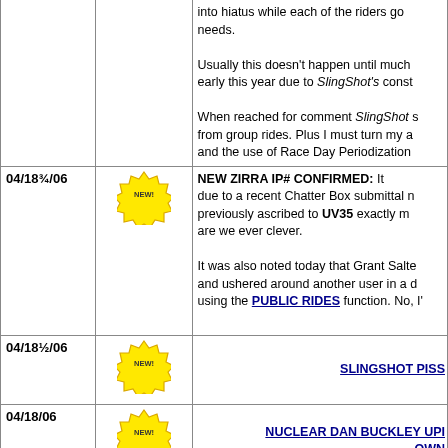| Date | Icon | Content |
| --- | --- | --- |
|  |  | into hiatus while each of the riders go... needs.

Usually this doesn't happen until much... early this year due to SlingShot's conste...

When reached for comment SlingShot s... from group rides. Plus I must turn my a... and the use of Race Day Periodization... |
| 04/18¾/06 | NEW! | NEW ZIRRA IP# CONFIRMED: It... due to a recent Chatter Box submittal n... previously ascribed to UV35 exactly m... are we ever clever.

It was also noted today that Grant Salte... and ushered around another user in a d... using the PUBLIC RIDES function. No, I'... |
| 04/18½/06 | NEW! | SLINGSHOT PISS... |
| 04/18/06 | NEW! | NUCLEAR DAN BUCKLEY UPI... OWN... |
| 04/17/06 | NEW! | MI... |
| 04/15½/06 | NEW! | HUMP REPORT: It was an exciting R... |